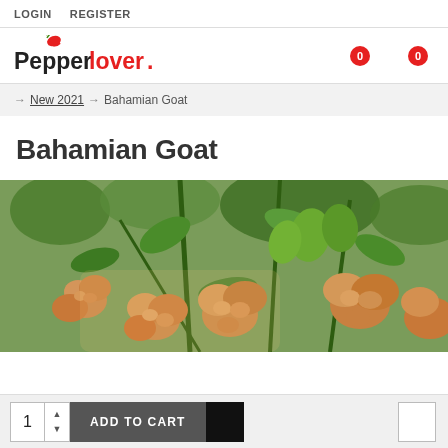LOGIN   REGISTER
[Figure (logo): Pepperlover. logo with red chili pepper icon above the P, cart badges showing 0]
→ New 2021 → Bahamian Goat
Bahamian Goat
[Figure (photo): Close-up photograph of Bahamian Goat peppers — wrinkled orange/tan peppers on a plant with green leaves and green unripe peppers]
1  ADD TO CART